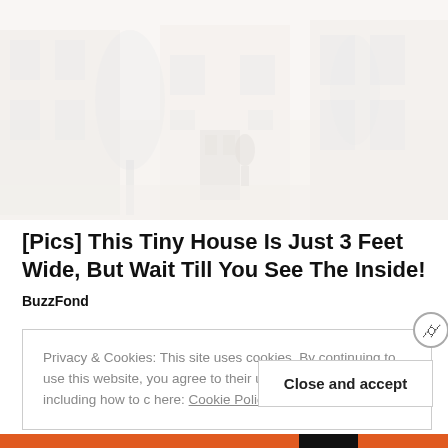[Figure (photo): Faded/washed-out photograph of a narrow house exterior with trees and a front door visible]
[Pics] This Tiny House Is Just 3 Feet Wide, But Wait Till You See The Inside!
BuzzFond
Privacy & Cookies: This site uses cookies. By continuing to use this website, you agree to their use. To find out more, including how to c here: Cookie Policy
Close and accept